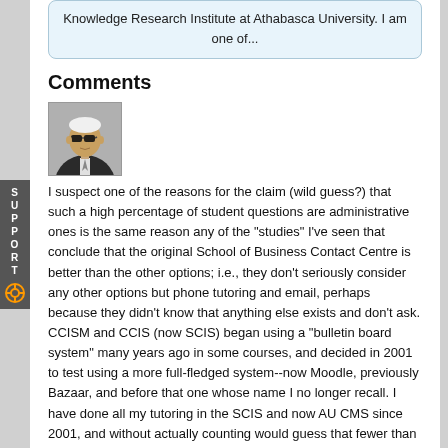Knowledge Research Institute at Athabasca University. I am one of...
Comments
[Figure (photo): Avatar photo of a person wearing sunglasses in a suit]
I suspect one of the reasons for the claim (wild guess?) that such a high percentage of student questions are administrative ones is the same reason any of the "studies" I've seen that conclude that the original School of Business Contact Centre is better than the other options; i.e., they don't seriously consider any other options but phone tutoring and email, perhaps because they didn't know that anything else exists and don't ask. CCISM and CCIS (now SCIS) began using a "bulletin board system" many years ago in some courses, and decided in 2001 to test using a more full-fledged system--now Moodle, previously Bazaar, and before that one whose name I no longer recall. I have done all my tutoring in the SCIS and now AU CMS since 2001, and without actually counting would guess that fewer than 5% of posted questions are administrative--about the same as COMP 266 R3 on the Landing. Never was I asked to collect and submit any stats for any of the courses I've tutored that way.
The ALEC Learning Support Working Group (I and II) didn't have the